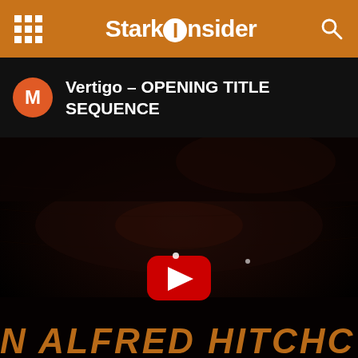StarkInsider
Vertigo – OPENING TITLE SEQUENCE
[Figure (screenshot): Dark video thumbnail showing a close-up of an eye in extreme low-key lighting, with a YouTube play button overlay in the center. The bottom of the image shows partial text in orange/amber italic bold letters reading 'N ALFRED HITCHC'.]